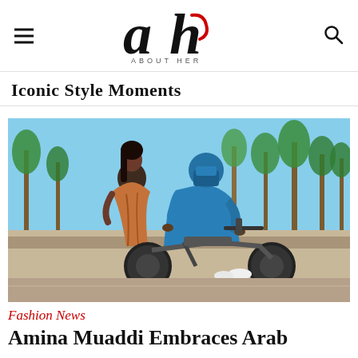About Her
Iconic Style Moments
[Figure (photo): A woman in a draped rust/brown dress standing next to a man dressed in a blue Tuareg robe and face covering seated on a motorcycle, with palm trees in the background in what appears to be a Moroccan setting.]
Fashion News
Amina Muaddi Embraces Arab